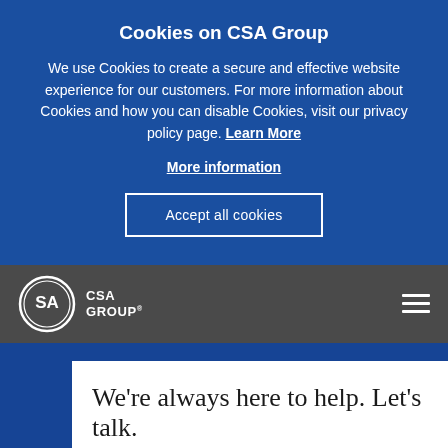Cookies on CSA Group
We use Cookies to create a secure and effective website experience for our customers. For more information about Cookies and how you can disable Cookies, visit our privacy policy page. Learn More
More information
Accept all cookies
[Figure (logo): CSA Group logo with circular SA badge and CSA GROUP text in white on dark grey navigation bar]
We're always here to help. Let's talk.